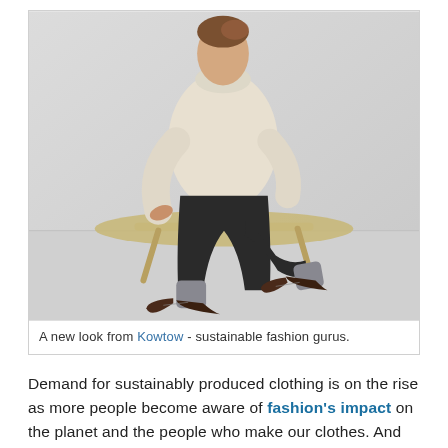[Figure (photo): A woman wearing a cream turtleneck sweater and black trousers sits on a wooden bench, wearing grey socks and dark brown oxford shoes. Minimalist studio background.]
A new look from Kowtow - sustainable fashion gurus.
Demand for sustainably produced clothing is on the rise as more people become aware of fashion's impact on the planet and the people who make our clothes. And the